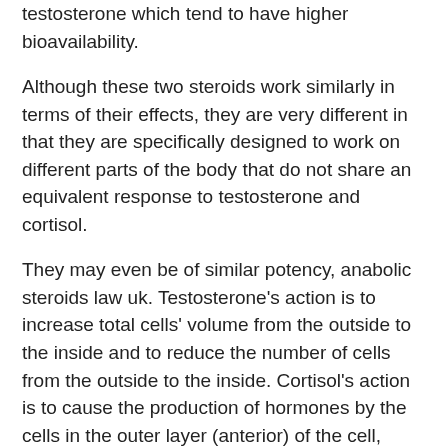testosterone which tend to have higher bioavailability.
Although these two steroids work similarly in terms of their effects, they are very different in that they are specifically designed to work on different parts of the body that do not share an equivalent response to testosterone and cortisol.
They may even be of similar potency, anabolic steroids law uk. Testosterone's action is to increase total cells' volume from the outside to the inside and to reduce the number of cells from the outside to the inside. Cortisol's action is to cause the production of hormones by the cells in the outer layer (anterior) of the cell, which are similar to the hormone produced during exercise when the blood pumping muscles reach their maximum. These hormones, together with the